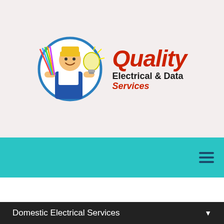[Figure (logo): Quality Electrical & Data Services logo featuring a cartoon electrician holding colorful wires and a light bulb inside a blue circle, with the brand name 'Quality Electrical & Data Services' in red and black text to the right]
HOME
Domestic Electrical Services